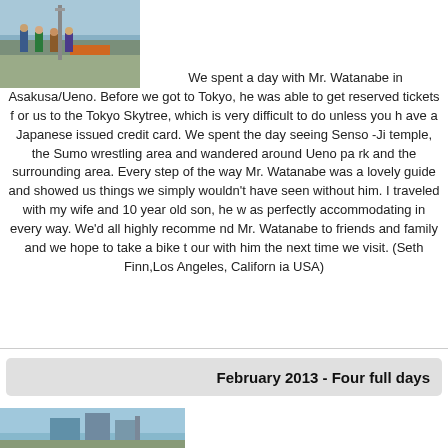[Figure (photo): Group of people standing outdoors near a construction area or monument, sunny day.]
We spent a day with Mr. Watanabe in Asakusa/Ueno. Before we got to Tokyo, he was able to get reserved tickets for us to the Tokyo Skytree, which is very difficult to do unless you have a Japanese issued credit card. We spent the day seeing Senso-Ji temple, the Sumo wrestling area and wandered around Ueno park and the surrounding area. Every step of the way Mr. Watanabe was a lovely guide and showed us things we simply wouldn't have seen without him. I traveled with my wife and 10 year old son, he was perfectly accommodating in every way. We'd all highly recommend Mr. Watanabe to friends and family and we hope to take a bike tour with him the next time we visit. (Seth Finn,Los Angeles, California USA)
February 2013 - Four full days
[Figure (photo): City skyline with tall modern buildings and a monument or tower, blue sky.]